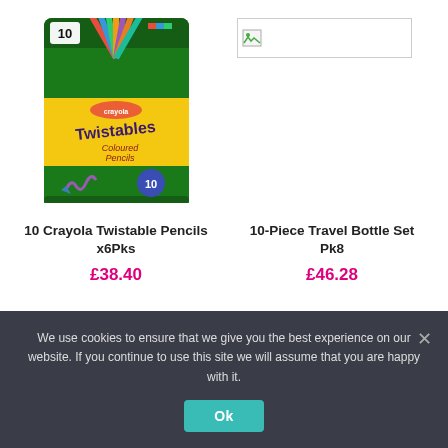[Figure (photo): Crayola Twistables Coloured Pencils pack of 10, shown in green packaging with coloured pencils fan displayed]
[Figure (photo): Broken/missing image placeholder for 10-Piece Travel Bottle Set Pk8]
10 Crayola Twistable Pencils x6Pks
£38.40
10-Piece Travel Bottle Set Pk8
£46.28
We use cookies to ensure that we give you the best experience on our website. If you continue to use this site we will assume that you are happy with it.